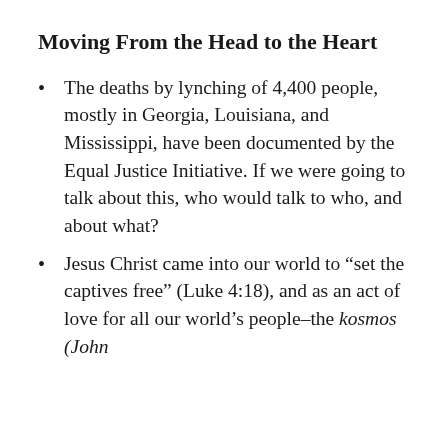Moving From the Head to the Heart
The deaths by lynching of 4,400 people, mostly in Georgia, Louisiana, and Mississippi, have been documented by the Equal Justice Initiative. If we were going to talk about this, who would talk to who, and about what?
Jesus Christ came into our world to “set the captives free” (Luke 4:18), and as an act of love for all our world’s people–the kosmos (John